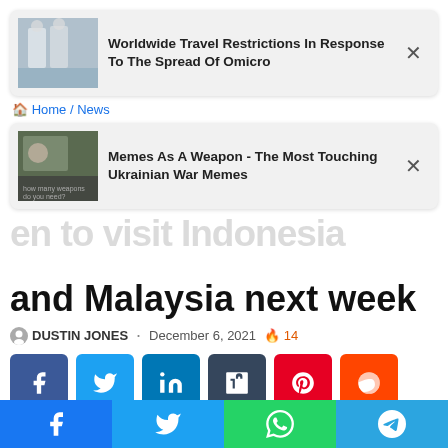[Figure (screenshot): Notification card with hazmat workers image and title: Worldwide Travel Restrictions In Response To The Spread Of Omicro]
Home / News
[Figure (screenshot): Notification card with meme image and title: Memes As A Weapon - The Most Touching Ukrainian War Memes]
and Malaysia next week
DUSTIN JONES · December 6, 2021 🔥 14
[Figure (infographic): Social share buttons: Facebook, Twitter, LinkedIn, Tumblr, Pinterest, Reddit]
[Figure (photo): Partial photo of a person's head/face against dark background]
[Figure (infographic): Bottom share bar with Facebook, Twitter, WhatsApp, Telegram buttons]